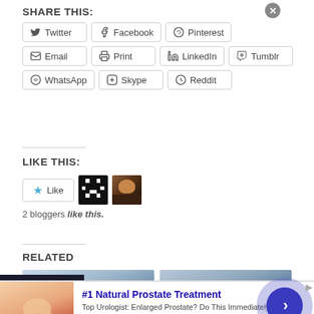SHARE THIS:
Twitter | Facebook | Pinterest | Email | Print | LinkedIn | Tumblr | WhatsApp | Skype | Reddit
LIKE THIS:
2 bloggers like this.
RELATED
[Figure (screenshot): Two related article thumbnail images side by side]
[Figure (infographic): Infolinks advertisement overlay: #1 Natural Prostate Treatment - Top Urologist: Enlarged Prostate? Do This Immediately! healthreport4u.com]